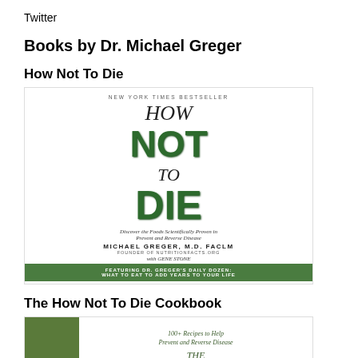Twitter
Books by Dr. Michael Greger
How Not To Die
[Figure (photo): Book cover of 'How Not To Die' by Michael Greger, M.D., FACLM with Gene Stone. New York Times Bestseller. Features large green leafy letters spelling out NOT and DIE. Subtitle: Discover the Foods Scientifically Proven to Prevent and Reverse Disease. Green banner at bottom featuring Dr. Greger's Daily Dozen.]
The How Not To Die Cookbook
[Figure (photo): Partial book cover of 'The How Not To Die Cookbook' showing a green spine on the left and text: 100+ Recipes to Help Prevent and Reverse Disease, and 'THE' at the bottom.]